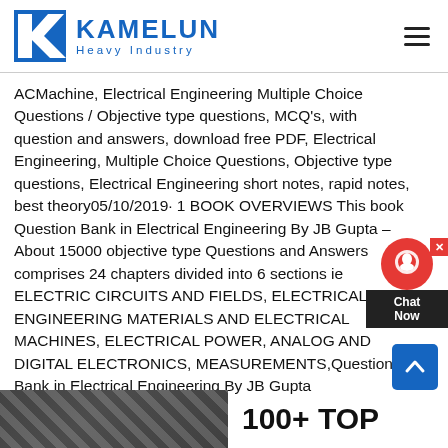KAMELUN Heavy Industry
ACMachine, Electrical Engineering Multiple Choice Questions / Objective type questions, MCQ's, with question and answers, download free PDF, Electrical Engineering, Multiple Choice Questions, Objective type questions, Electrical Engineering short notes, rapid notes, best theory05/10/2019· 1 BOOK OVERVIEWS This book Question Bank in Electrical Engineering By JB Gupta – About 15000 objective type Questions and Answers comprises 24 chapters divided into 6 sections ie ELECTRIC CIRCUITS AND FIELDS, ELECTRICAL ENGINEERING MATERIALS AND ELECTRICAL MACHINES, ELECTRICAL POWER, ANALOG AND DIGITAL ELECTRONICS, MEASUREMENTS,Question Bank in Electrical Engineering By JB Gupta
[Figure (photo): Image strip at bottom left showing industrial/engineering equipment]
100+ TOP